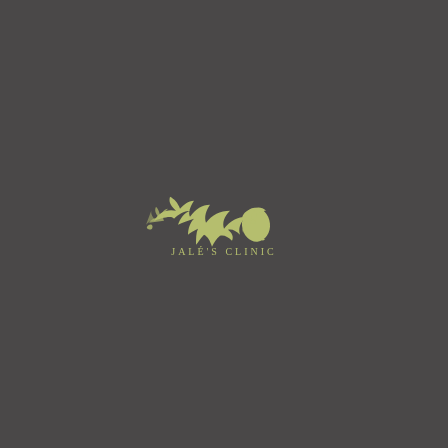[Figure (logo): Jale's Clinic logo: a light yellow-green silhouette of a woman's face in profile with long flowing hair blowing to the left, with the text JALÉ'S CLINIC below in spaced serif letters]